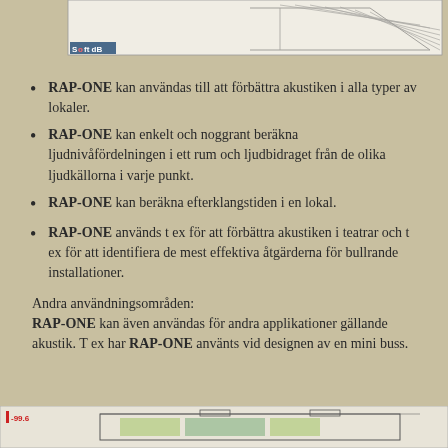[Figure (engineering-diagram): Top portion of an engineering diagram/schematic drawing showing hatched lines, likely a cross-section of an acoustic room or building element. Soft dB logo in lower left corner.]
RAP-ONE kan användas till att förbättra akustiken i alla typer av lokaler.
RAP-ONE kan enkelt och noggrant beräkna ljudnivåfördelningen i ett rum och ljudbidraget från de olika ljudkällorna i varje punkt.
RAP-ONE kan beräkna efterklangstiden i en lokal.
RAP-ONE används t ex för att förbättra akustiken i teatrar och t ex för att identifiera de mest effektiva åtgärderna för bullrande installationer.
Andra användningsområden:
RAP-ONE kan även användas för andra applikationer gällande akustik. T ex har RAP-ONE använts vid designen av en mini buss.
[Figure (engineering-diagram): Bottom portion of an engineering/acoustic diagram showing a room layout with colored acoustic zones. Red i-996 label visible at top left.]